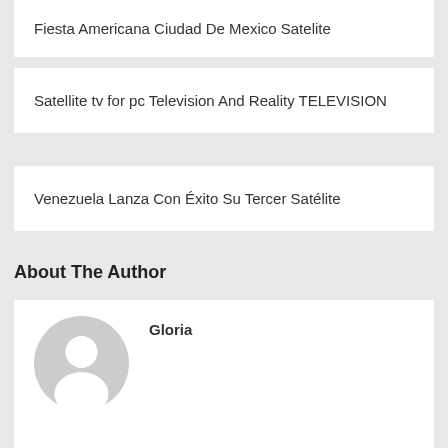Fiesta Americana Ciudad De Mexico Satelite
Satellite tv for pc Television And Reality TELEVISION
Venezuela Lanza Con Éxito Su Tercer Satélite
About The Author
Gloria